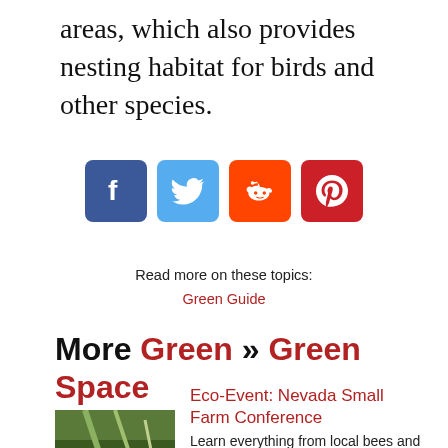areas, which also provides nesting habitat for birds and other species.
[Figure (other): Social media sharing icons: Facebook, Twitter, Reddit, Pinterest]
Read more on these topics:
Green Guide
More Green » Green Space
Eco-Event: Nevada Small Farm Conference
[Figure (photo): Thumbnail photo of plants/vegetables]
Learn everything from local bees and